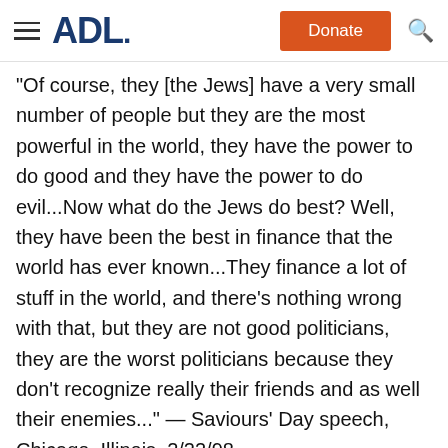ADL   Donate
"Of course, they [the Jews] have a very small number of people but they are the most powerful in the world, they have the power to do good and they have the power to do evil...Now what do the Jews do best? Well, they have been the best in finance that the world has ever known...They finance a lot of stuff in the world, and there's nothing wrong with that, but they are not good politicians, they are the worst politicians because they don't recognize really their friends and as well their enemies..." — Saviours' Day speech, Chicago, Illinois, 2/22/98
"I believe that for the small numbers of Jewish